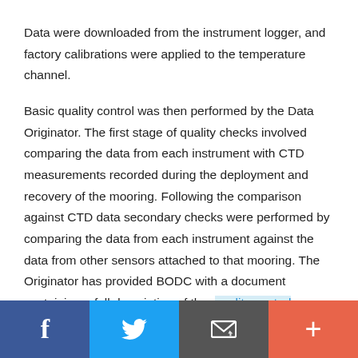Data were downloaded from the instrument logger, and factory calibrations were applied to the temperature channel.
Basic quality control was then performed by the Data Originator. The first stage of quality checks involved comparing the data from each instrument with CTD measurements recorded during the deployment and recovery of the mooring. Following the comparison against CTD data secondary checks were performed by comparing the data from each instrument against the data from other sensors attached to that mooring. The Originator has provided BODC with a document containing a full description of the quality control methodology . Depending on the result of the quality checks for each series, one of the following
Social share bar: Facebook, Twitter, Email, More